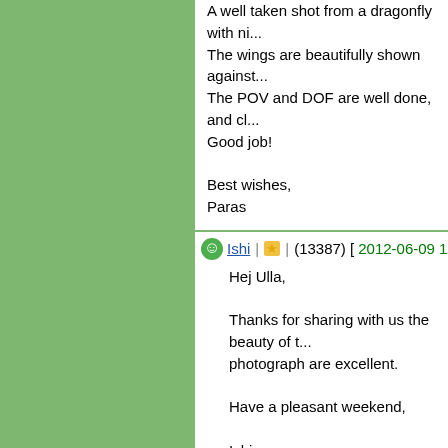A well taken shot from a dragonfly with ni... The wings are beautifully shown against... The POV and DOF are well done, and cl... Good job!

Best wishes,
Paras
Ishi (13387) [2012-06-09 1:15]
Hej Ulla,

Thanks for sharing with us the beauty of... photograph are excellent.

Have a pleasant weekend,

Ishi
anel (40574) [2012-06-09 2:31]
Bonjour Ulla,
A very elegant dragonfly-species with a w... also some species of Leucorrhinia. Good...
Bonne fin de semaine
Amicalement
Anne
rbassin (1631) [2012-06-09 9:36]
Hello Ulla,